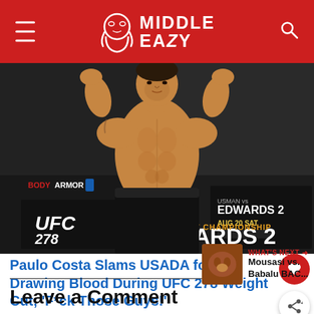Middle Easy
[Figure (photo): UFC fighter Paulo Costa posing shirtless at UFC 278 weigh-ins with BODYARMOR sponsor banner and Edwards 2 championship signage visible in the background]
Paulo Costa Slams USADA for Drawing Blood During UFC 278 Weight Cut; ‘F*ck Those Guys!’
WHAT'S NEXT → Mousasi vs. Babalu BAC...
Leave a Comment